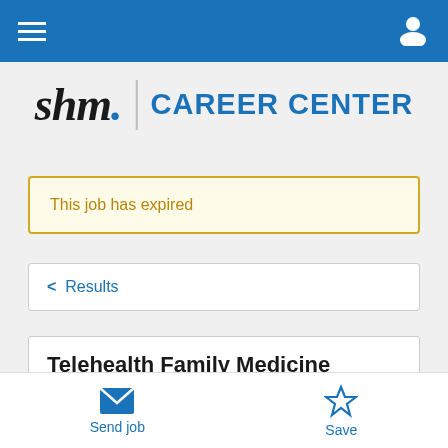SHM Career Center navigation bar
[Figure (logo): SHM Career Center logo with stylized italic 'shm.' in black and blue, a vertical divider, and 'CAREER CENTER' in blue bold text]
This job has expired
< Results
Telehealth Family Medicine Nurse Practitioner
Send job  Save